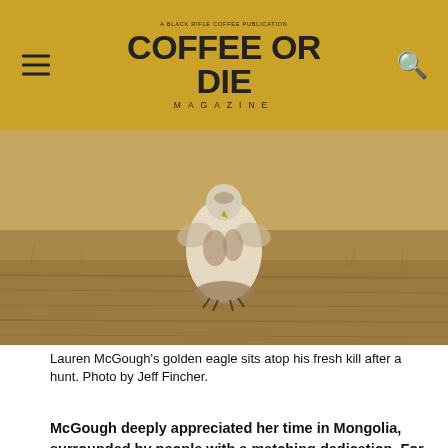COFFEE OR DIE MAGAZINE
[Figure (photo): A golden eagle sits atop its fresh kill in a field of dry grass and bare earth after a hunt.]
Lauren McGough's golden eagle sits atop his fresh kill after a hunt. Photo by Jeff Fincher.
McGough deeply appreciated her time in Mongolia, surrounded by people with a matching dedication. For the most part, she found a meritocracy among the falconers.
“Anybody that is passionate and really wants to do it should be given a chance,” she said.